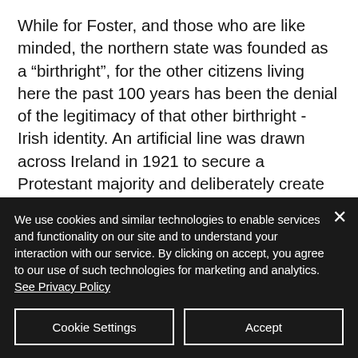While for Foster, and those who are like minded, the northern state was founded as a “birthright”, for the other citizens living here the past 100 years has been the denial of the legitimacy of that other birthright - Irish identity. An artificial line was drawn across Ireland in 1921 to secure a Protestant majority and deliberately create the conditions for what Fine Gael’s Peter Barry called the “nationalist nightmare”. Decades of systemic discrimination against Irish citizens upheld by a militarised police
We use cookies and similar technologies to enable services and functionality on our site and to understand your interaction with our service. By clicking on accept, you agree to our use of such technologies for marketing and analytics. See Privacy Policy